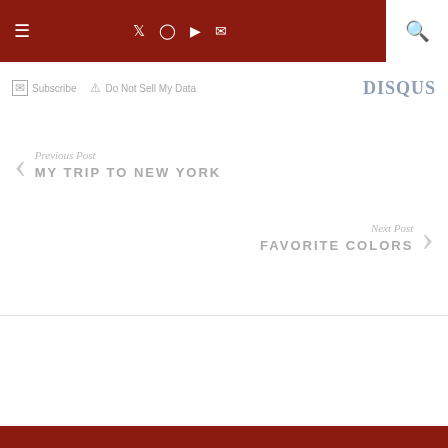≡  𝕏  ⓘ  ▶  ✉  🔍
✉ Subscribe  ⚠ Do Not Sell My Data  DISQUS
< Previous Post
MY TRIP TO NEW YORK
Next Post >
FAVORITE COLORS